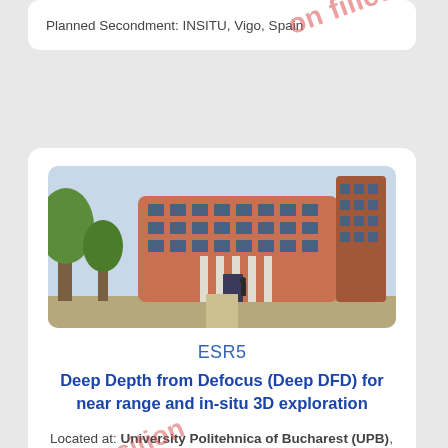Planned Secondment: INSITU, Vigo, Spain
[Figure (photo): Exterior photo of a modern university building with curved brick facade, large glass windows, and surrounding trees]
ESR5
Deep Depth from Defocus (Deep DFD) for near range and in-situ 3D exploration
Located at: University Politehnica of Bucharest (UPB), Bucuresti, Romania
Planned Secondments: CiTIUS, Santiago de Compostela, Spain; INSITU, Vigo, Spain